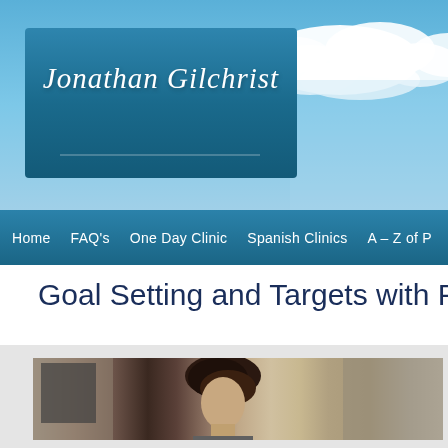[Figure (photo): Website header banner with blue sky and clouds background, teal logo box containing 'Jonathan Gilchrist' in italic script font]
Jonathan Gilchrist
Home   FAQ's   One Day Clinic   Spanish Clinics   A – Z of P
Goal Setting and Targets with Fas
[Figure (photo): Photo of a dark-haired person, partially cropped, showing head and upper body against a blurred indoor background]